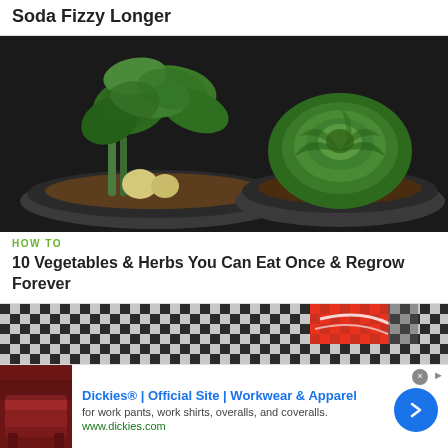Soda Fizzy Longer
[Figure (photo): Two plastic containers with regrown vegetables: green leafy plants (lettuce/bok choy) in the left container and a rose-like cabbage/lettuce head in the right container, both on dark background]
HOW TO
10 Vegetables & Herbs You Can Eat Once & Regrow Forever
[Figure (photo): Partial view of a soda can on a checkered tablecloth background]
[Figure (photo): Advertisement thumbnail showing a red leather couch]
Dickies® | Official Site | Workwear & Apparel
for work pants, work shirts, overalls, and coveralls.
www.dickies.com